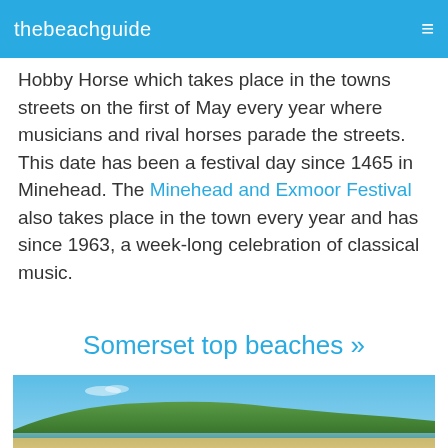thebeachguide
Hobby Horse which takes place in the towns streets on the first of May every year where musicians and rival horses parade the streets. This date has been a festival day since 1465 in Minehead. The Minehead and Exmoor Festival also takes place in the town every year and has since 1963, a week-long celebration of classical music.
Somerset top beaches »
[Figure (photo): Coastal beach scene with blue sky, a headland covered with trees and vegetation, and sandy beach/water in the foreground]